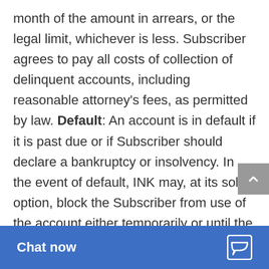month of the amount in arrears, or the legal limit, whichever is less. Subscriber agrees to pay all costs of collection of delinquent accounts, including reasonable attorney's fees, as permitted by law. Default: An account is in default if it is past due or if Subscriber should declare a bankruptcy or insolvency. In the event of default, INK may, at its sole option, block the Subscriber from use of the account either temporarily or until the past due amount is pa... regardless of...
[Figure (screenshot): Gray scroll-to-top button with upward chevron arrow on the right side of the page]
[Figure (screenshot): Blue 'Chat now' bar at the bottom with chat icon on the right]